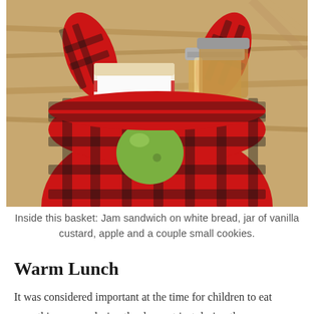[Figure (photo): A red and black plaid fabric basket/bag containing a jam sandwich on white bread, a jar of vanilla custard with a metal lid, a green apple, and small cookies, placed on a wooden surface.]
Inside this basket: Jam sandwich on white bread, jar of vanilla custard, apple and a couple small cookies.
Warm Lunch
It was considered important at the time for children to eat something warm during the day, not just during the